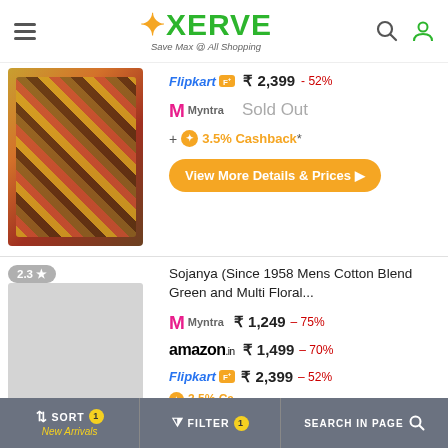XERVE - Save Max @ All Shopping
[Figure (screenshot): Product image of a colorful floral patterned blazer/jacket]
Flipkart ₹ 2,399 - 52%
Myntra Sold Out
+ 3.5% Cashback*
View More Details & Prices ▶
2.3 ★
Sojanya (Since 1958 Mens Cotton Blend Green and Multi Floral...
Myntra ₹ 1,249 - 75%
amazon.in ₹ 1,499 - 70%
Flipkart ₹ 2,399 - 52%
SORT New Arrivals | FILTER | SEARCH IN PAGE